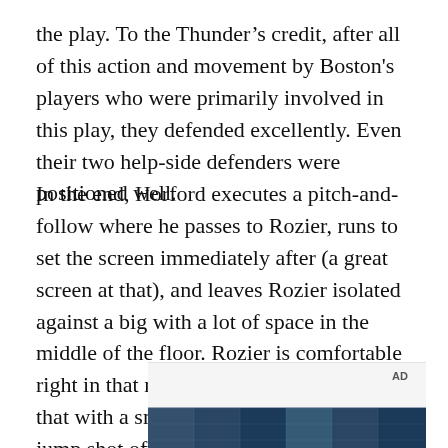the play. To the Thunder’s credit, after all of this action and movement by Boston's players who were primarily involved in this play, they defended excellently. Even their two help-side defenders were positioned well.
In the end, Horford executes a pitch-and-follow where he passes to Rozier, runs to set the screen immediately after (a great screen at that), and leaves Rozier isolated against a big with a lot of space in the middle of the floor. Rozier is comfortable right in that range, and he demonstrated that with a smooth and composed pull-up jump shot off the dribble. Beauty in motion.
[Figure (photo): Advertisement placeholder with a photo strip showing what appears to be a building or architectural structure with a blue/dark color scheme and grid-like pattern.]